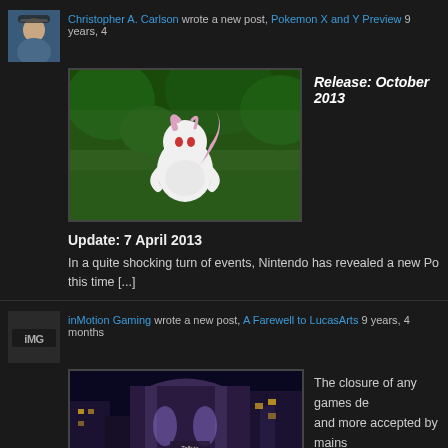Christopher A. Carlson wrote a new post, Pokemon X and Y Preview 9 years, 4
[Figure (screenshot): Screenshot of a new Mewtwo-like Pokemon from Pokemon X and Y, white creature with pink tail against green background]
Release: October 2013
Update: 7 April 2013
In a quite shocking turn of events, Nintendo has revealed a new Po... this time [...]
inMotion Gaming wrote a new post, A Farewell to LucasArts 9 years, 4 months
[Figure (screenshot): Screenshot of a classic LucasArts adventure game showing characters on a dark street with verb interface (Give, Pick up, Use, Open, Look at, Push, Close, Talk to, Pull)]
The closure of any games de... and more accepted by mains...